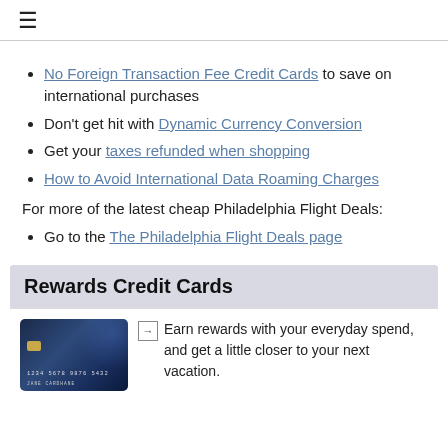≡
No Foreign Transaction Fee Credit Cards to save on international purchases
Don't get hit with Dynamic Currency Conversion
Get your taxes refunded when shopping
How to Avoid International Data Roaming Charges
For more of the latest cheap Philadelphia Flight Deals:
Go to the The Philadelphia Flight Deals page
Rewards Credit Cards
Earn rewards with your everyday spend, and get a little closer to your next vacation.